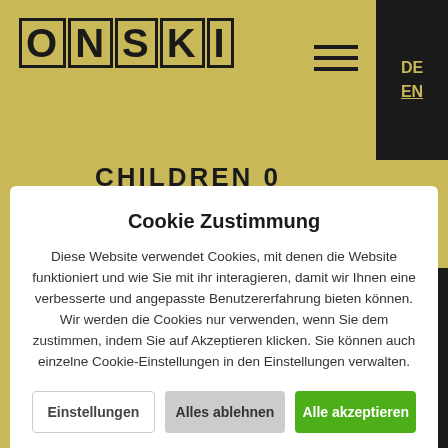[Figure (logo): ONSKI logo in block letters on gold background, top-left]
[Figure (infographic): Hamburger menu icon (three horizontal bars)]
DE EN
CHILDREN 0 (partially visible, behind modal)
Cookie Zustimmung
Diese Website verwendet Cookies, mit denen die Website funktioniert und wie Sie mit ihr interagieren, damit wir Ihnen eine verbesserte und angepasste Benutzererfahrung bieten können. Wir werden die Cookies nur verwenden, wenn Sie dem zustimmen, indem Sie auf Akzeptieren klicken. Sie können auch einzelne Cookie-Einstellungen in den Einstellungen verwalten.
Einstellungen | Alles ablehnen | Alle akzeptieren
4 Children
2 h. (9.30 – 11.30 h.)   €   160